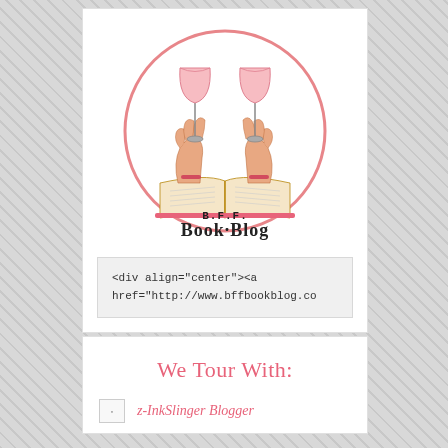[Figure (logo): BFF Book Blog logo: circular pink border containing two hands holding wine glasses over an open book, with text 'B.F.F. Book·Blog' below]
<div align="center"><a href="http://www.bffbookblog.co
We Tour With:
[Figure (illustration): Small broken/loading image placeholder]
z-InkSlinger Blogger